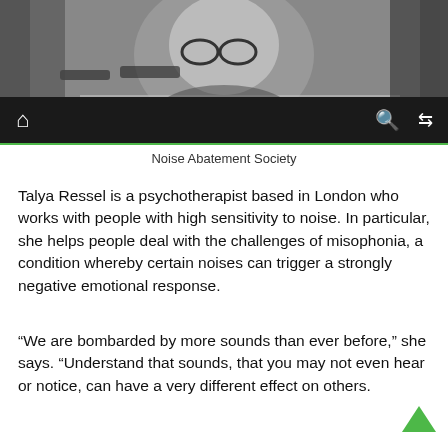[Figure (photo): Black and white photograph of a person wearing glasses, partially obscured, holding or near a sign with cursive text visible at the bottom.]
🏠  🔍  ⇌
Noise Abatement Society
Talya Ressel is a psychotherapist based in London who works with people with high sensitivity to noise. In particular, she helps people deal with the challenges of misophonia, a condition whereby certain noises can trigger a strongly negative emotional response.
“We are bombarded by more sounds than ever before,” she says. “Understand that sounds, that you may not even hear or notice, can have a very different effect on others.